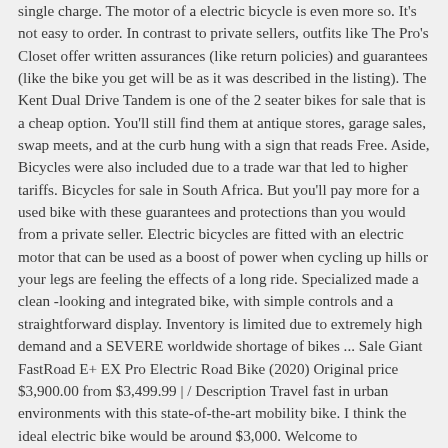single charge. The motor of a electric bicycle is even more so. It's not easy to order. In contrast to private sellers, outfits like The Pro's Closet offer written assurances (like return policies) and guarantees (like the bike you get will be as it was described in the listing). The Kent Dual Drive Tandem is one of the 2 seater bikes for sale that is a cheap option. You'll still find them at antique stores, garage sales, swap meets, and at the curb hung with a sign that reads Free. Aside, Bicycles were also included due to a trade war that led to higher tariffs. Bicycles for sale in South Africa. But you'll pay more for a used bike with these guarantees and protections than you would from a private seller. Electric bicycles are fitted with an electric motor that can be used as a boost of power when cycling up hills or your legs are feeling the effects of a long ride. Specialized made a clean -looking and integrated bike, with simple controls and a straightforward display. Inventory is limited due to extremely high demand and a SEVERE worldwide shortage of bikes ... Sale Giant FastRoad E+ EX Pro Electric Road Bike (2020) Original price $3,900.00 from $3,499.99 | / Description Travel fast in urban environments with this state-of-the-art mobility bike. I think the ideal electric bike would be around $3,000. Welcome to Bikes.com.au and Melbourne Bicycle Centre Prahran, home of the biggest range of Bikes, eBikes and Accessories in Melbourne for over 35 years. This is a great 27.5-wheeled trail bike on its own, and this one